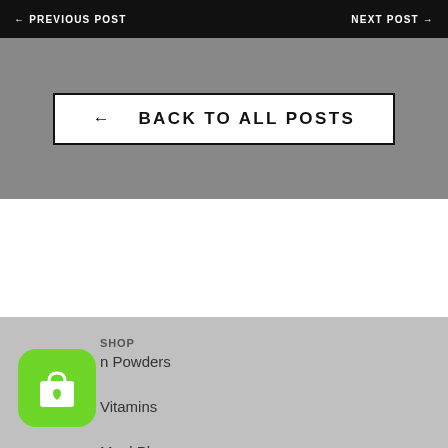← PREVIOUS POST    NEXT POST →
← BACK TO ALL POSTS
SHOP
[Figure (illustration): Green rounded square icon with shopping bag and heart symbol]
n Powders
Vitamins
Meal Planner
[Figure (illustration): Grey circular chat button with three dots]